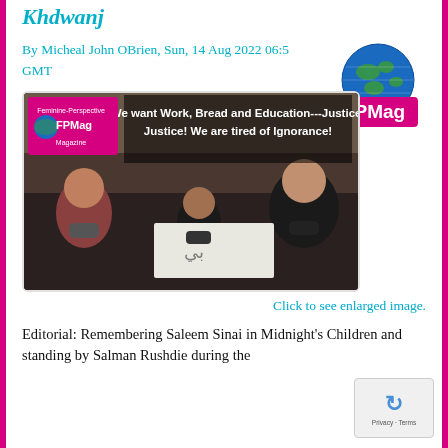Khdwanj
By Micheal John OBrien, Sun, 14 Aug 2022 06:5... GMT
[Figure (logo): FPMag globe logo with blue globe and pink/white FPMag text]
[Figure (photo): Afghan women protesters holding signs reading 'We want Work, Bread and Education---Justice! Justice! We are tired of Ignorance!' with FPMag watermark in top left corner]
Click to see enlarged image.
Editorial: Remembering Saleem Sinai in Midnight's Children and standing by Salman Rushdie during the ...